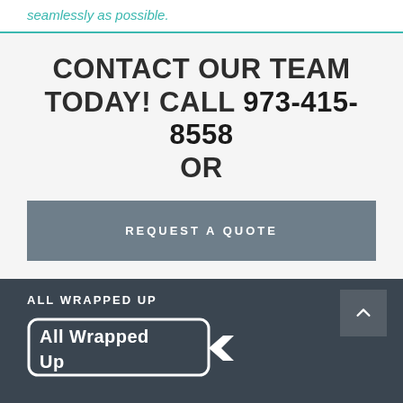seamlessly as possible.
CONTACT OUR TEAM TODAY! CALL 973-415-8558 OR
REQUEST A QUOTE
ALL WRAPPED UP
[Figure (logo): All Wrapped Up company logo — white text on dark background with rounded rectangle border and arrow graphic]